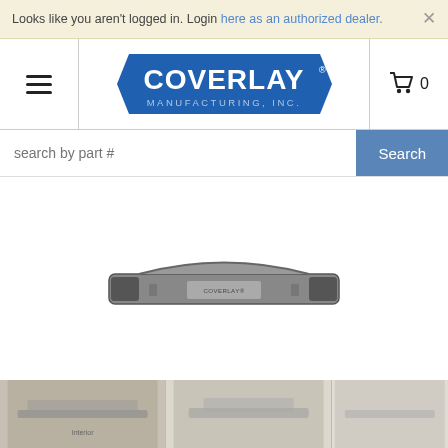Looks like you aren't logged in. Login here as an authorized dealer.
[Figure (logo): Coverlay Manufacturing Inc. logo — blue rhombus/badge shape with bold white COVERLAY text and MANUFACTURING, INC. below]
search by part #
[Figure (photo): Coverlay dashboard cover product — gray plastic dashboard overlay piece shown from front]
[Figure (photo): Bottom thumbnail strip showing three partial vehicle/product photos]